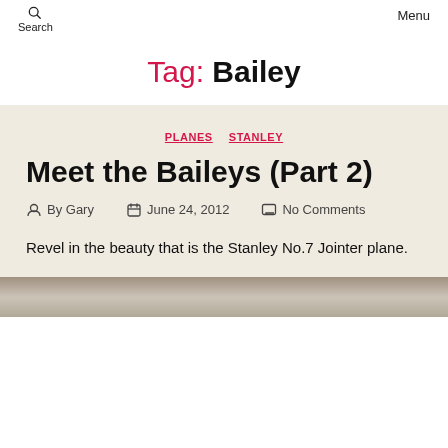Search   Menu
Tag: Bailey
PLANES  STANLEY
Meet the Baileys (Part 2)
By Gary   June 24, 2012   No Comments
Revel in the beauty that is the Stanley No.7 Jointer plane.
[Figure (photo): Partial thumbnail of a Stanley No.7 Jointer plane image at the bottom of the page]